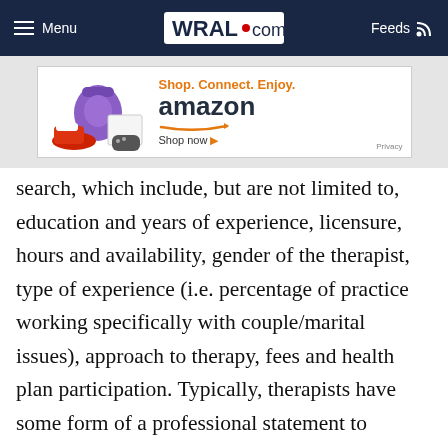WRAL.com — Menu | Feeds
[Figure (other): Amazon advertisement banner: Shop. Connect. Enjoy. amazon Shop now. Privacy.]
search, which include, but are not limited to, education and years of experience, licensure, hours and availability, gender of the therapist, type of experience (i.e. percentage of practice working specifically with couple/marital issues), approach to therapy, fees and health plan participation. Typically, therapists have some form of a professional statement to provide detailed information to potential clients.